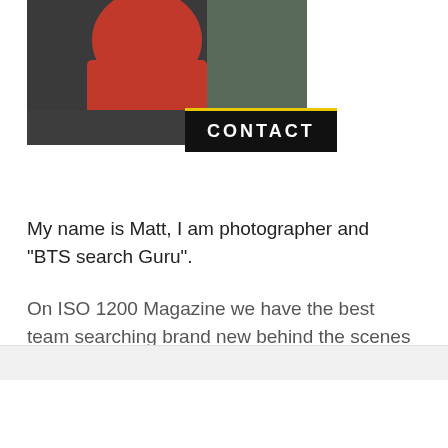[Figure (photo): Photo of a person in a red jacket on rocky terrain, partially visible at top of page]
CONTACT
My name is Matt, I am photographer and "BTS search Guru".
On ISO 1200 Magazine we have the best team searching brand new behind the scenes videos around the world to learn all the secrets of the best photographers
MUST-READ POSTS